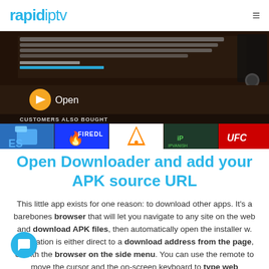rapidiptv
[Figure (screenshot): Amazon Fire TV Downloader app page screenshot showing app description, Open button with play icon, and 'Customers Also Bought' section with app icons including ES File Explorer, Firedl, VLC, IP Vanish, and UFC apps]
Open Downloader and add your APK source URL
This little app exists for one reason: to download other apps. It's a barebones browser that will let you navigate to any site on the web and download APK files, then automatically open the installer w. Navigation is either direct to a download address from the page, or with the browser on the side menu. You can use the remote to move the cursor and the on-screen keyboard to type web